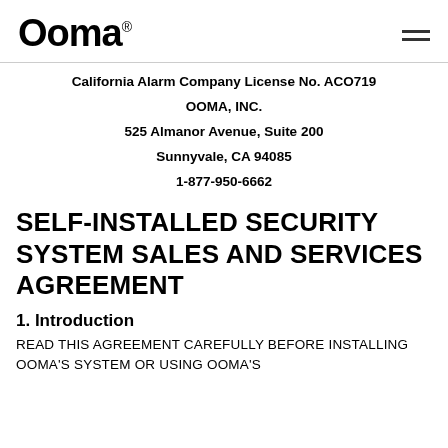Ooma®
California Alarm Company License No. ACO719
OOMA, INC.
525 Almanor Avenue, Suite 200
Sunnyvale, CA 94085
1-877-950-6662
SELF-INSTALLED SECURITY SYSTEM SALES AND SERVICES AGREEMENT
1. Introduction
READ THIS AGREEMENT CAREFULLY BEFORE INSTALLING OOMA'S SYSTEM OR USING OOMA'S